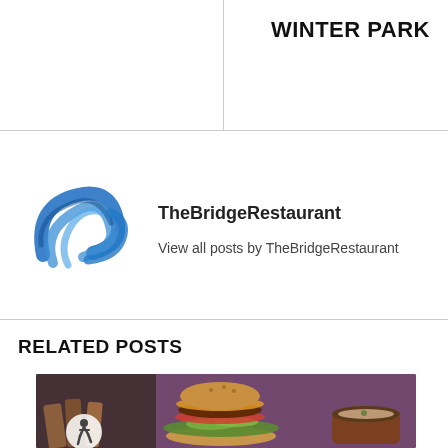WINTER PARK
[Figure (logo): TheBridgeRestaurant logo — blue swirling ribbon/bridge shape]
TheBridgeRestaurant
View all posts by TheBridgeRestaurant
RELATED POSTS
[Figure (photo): Food photo showing a burger with avocado, lettuce, tomato, and seasoned bun, served with potato wedges and a dipping sauce in a brown ceramic cup, against a purple curtain background. Accessibility wheelchair icon visible bottom-left.]